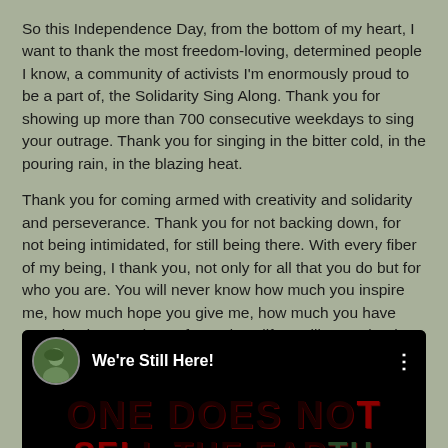So this Independence Day, from the bottom of my heart, I want to thank the most freedom-loving, determined people I know, a community of activists I'm enormously proud to be a part of, the Solidarity Sing Along. Thank you for showing up more than 700 consecutive weekdays to sing your outrage. Thank you for singing in the bitter cold, in the pouring rain, in the blazing heat.
Thank you for coming armed with creativity and solidarity and perseverance. Thank you for not backing down, for not being intimidated, for still being there. With every fiber of my being, I thank you, not only for all that you do but for who you are. You will never know how much you inspire me, how much hope you give me, how much you have energized me and transformed my life. I will never be the same, thanks to you.
[Figure (screenshot): Video thumbnail showing 'We're Still Here!' with a circular avatar of a person, and a dark background with large red/dark text reading 'ONE DOES NOT SELL THE EARTH']